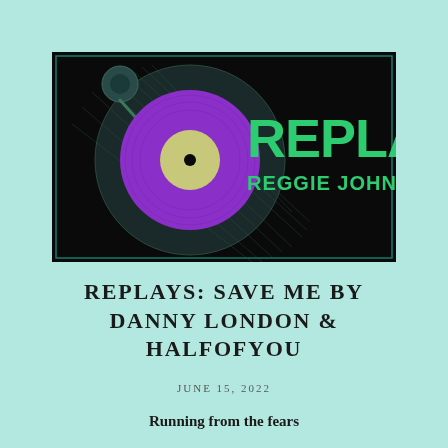[Figure (logo): Replays podcast logo: black background with illustrated turntable/record player, purple vinyl record, green tonearm, 'REPLAYS' in large green bold letters, 'REGGIE JOHNSON' in smaller green caps below]
REPLAYS: SAVE ME BY DANNY LONDON & HALFOFYOU
JUNE 15, 2022
Running from the fears